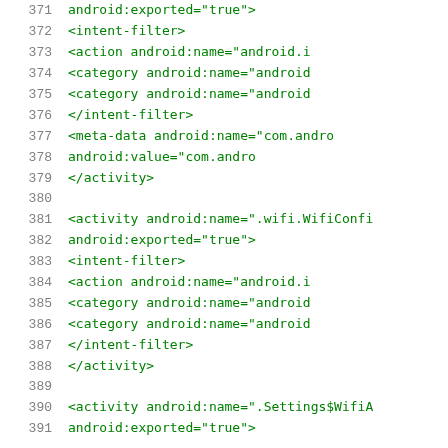Code listing lines 371–391, Android XML manifest snippet
371     android:exported="true">
372     <intent-filter>
373         <action android:name="android.i
374         <category android:name="android
375         <category android:name="android
376     </intent-filter>
377     <meta-data android:name="com.andro
378                 android:value="com.andro
379     </activity>
380
381     <activity android:name=".wifi.WifiConfi
382         android:exported="true">
383         <intent-filter>
384             <action android:name="android.i
385             <category android:name="android
386             <category android:name="android
387         </intent-filter>
388     </activity>
389
390     <activity android:name=".Settings$WifiA
391         android:exported="true">